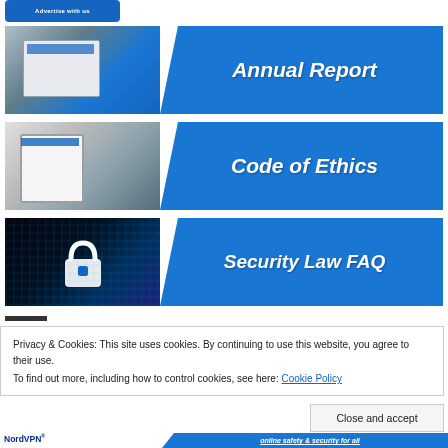[Figure (screenshot): Button with text 'Advertise with us' on blue background]
[Figure (screenshot): Banner card with photo of hands holding HKFP Annual Report booklet on left, blue background with white bold italic text 'Annual Report' on right]
[Figure (screenshot): Banner card with photo of HKFP press badge and items on desk on left, blue background with white bold italic text 'Code of Ethics' on right]
[Figure (screenshot): Banner card with photo of glowing padlock on circuit board on left, blue background with white bold italic text 'Security Law FAQ' on right]
Privacy & Cookies: This site uses cookies. By continuing to use this website, you agree to their use.
To find out more, including how to control cookies, see here: Cookie Policy
Close and accept
NordVPN®
online safety & security for all